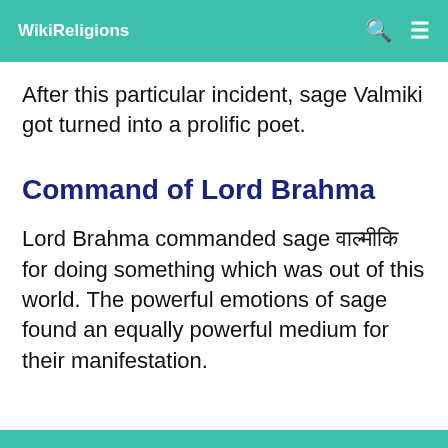WikiReligions
After this particular incident, sage Valmiki got turned into a prolific poet.
Command of Lord Brahma
Lord Brahma commanded sage वाल्मीकि for doing something which was out of this world. The powerful emotions of sage found an equally powerful medium for their manifestation.